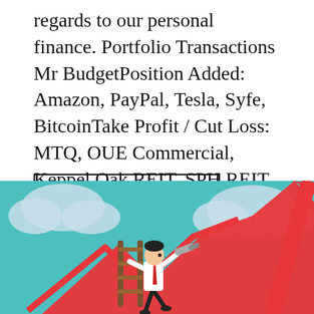regards to our personal finance. Portfolio Transactions Mr BudgetPosition Added: Amazon, PayPal, Tesla, Syfe, BitcoinTake Profit / Cut Loss: MTQ, OUE Commercial, Keppel Oak REIT, SPH REIT …
CONTINUE READING →
[Figure (illustration): Illustration of a businessman standing on a ladder looking through a telescope, surrounded by red upward-trending stock market arrows and white clouds on a teal/cyan background.]